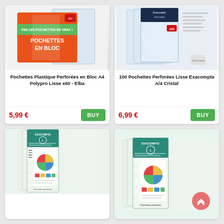[Figure (photo): Product image of Pochettes Plastique Perforées en Bloc A4 Polypro Lisse x60 - Elba, showing an orange box with green banner reading FINI LES POCHETTES EN VRAC and POCHETTES EN BLOC]
Pochettes Plastique Perforées en Bloc A4 Polypro Lisse x60 - Elba
5,99 €
BUY
[Figure (photo): Product image of 100 Pochettes Perforées Lisse Exacompta A/4 Cristal, showing transparent plastic sleeves in packaging with x50 label]
100 Pochettes Perforées Lisse Exacompta A/4 Cristal
6,99 €
BUY
[Figure (photo): Product image showing Exacompta branded plastic sleeves/pochettes perforées in teal/green packaging with pie chart and colorful grid visible on document inside]
[Figure (photo): Product image showing Exacompta branded pochettes perforées in teal/green packaging with pie chart and colorful grid visible on document inside, partially visible at bottom right]
Pochettes perforées